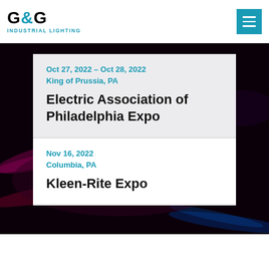G&G Industrial Lighting
Oct 27, 2022 – Oct 28, 2022
King of Prussia, PA
Electric Association of Philadelphia Expo
Nov 16, 2022
Columbia, PA
Kleen-Rite Expo